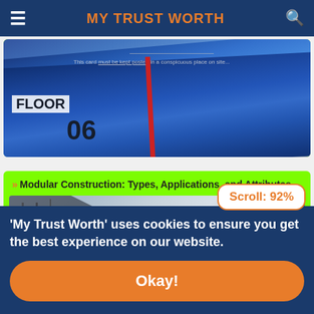MY TRUST WORTH
[Figure (photo): Partially visible article card showing rolled blueprints and a permit card on a construction site background]
Modular Construction: Types, Applications, and Attributes
[Figure (photo): Modular construction site showing scaffolding and buildings with dark X overlay graphic]
'My Trust Worth' uses cookies to ensure you get the best experience on our website.
Okay!
Scroll: 92%